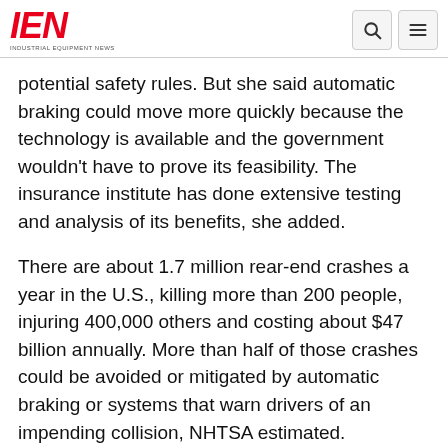IEN INDUSTRIAL EQUIPMENT NEWS
potential safety rules. But she said automatic braking could move more quickly because the technology is available and the government wouldn't have to prove its feasibility. The insurance institute has done extensive testing and analysis of its benefits, she added.
There are about 1.7 million rear-end crashes a year in the U.S., killing more than 200 people, injuring 400,000 others and costing about $47 billion annually. More than half of those crashes could be avoided or mitigated by automatic braking or systems that warn drivers of an impending collision, NHTSA estimated.
The auto...